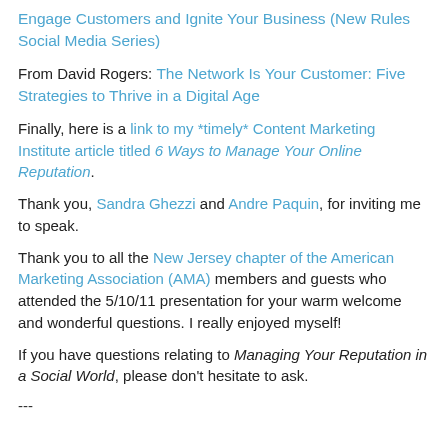Engage Customers and Ignite Your Business (New Rules Social Media Series)
From David Rogers: The Network Is Your Customer: Five Strategies to Thrive in a Digital Age
Finally, here is a link to my *timely* Content Marketing Institute article titled 6 Ways to Manage Your Online Reputation.
Thank you, Sandra Ghezzi and Andre Paquin, for inviting me to speak.
Thank you to all the New Jersey chapter of the American Marketing Association (AMA) members and guests who attended the 5/10/11 presentation for your warm welcome and wonderful questions. I really enjoyed myself!
If you have questions relating to Managing Your Reputation in a Social World, please don't hesitate to ask.
---